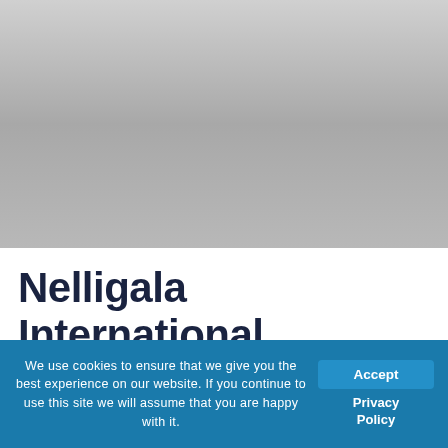[Figure (photo): Large photograph area showing a gradient grey image placeholder at the top of the page]
Nelligala International Buddhist Center
We use cookies to ensure that we give you the best experience on our website. If you continue to use this site we will assume that you are happy with it.